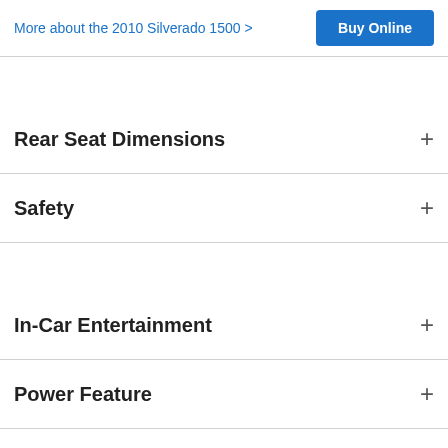More about the 2010 Silverado 1500 >   Buy Online
Rear Seat Dimensions
Safety
In-Car Entertainment
Power Feature
Comfort & Convenience